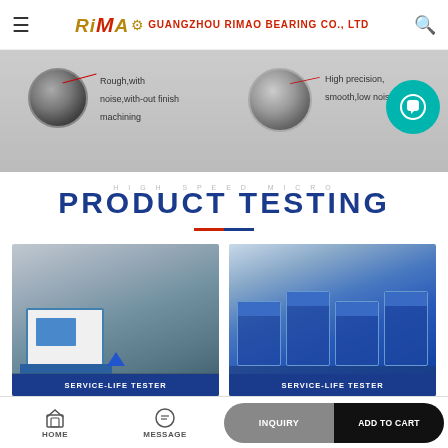RIMAO | GUANGZHOU RIMAO BEARING CO., LTD
[Figure (photo): Two bearing comparison photos: left shows rough bearing with noise without finish machining, right shows high precision smooth low noise bearing with a customer service chat icon]
HIGH SPEED MICRO
PRODUCT TESTING
[Figure (photo): Left photo: Service-life tester machine with white body and blue base in a workshop. Right photo: Row of service-life testing machines with blue frames in a factory.]
SERVICE-LIFE TESTER
SERVICE-LIFE TESTER
HOME   MESSAGE   INQUIRY   ADD TO CART